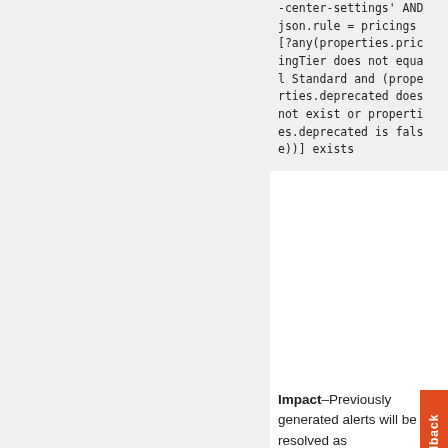-center-settings' AND json.rule = pricings[?any(properties.pricingTier does not equal Standard and (properties.deprecated does not exist or properties.deprecated is false))] exists
Impact–Previously generated alerts will be resolved as Policy_Updated.
GCP VM instance with the external IP address
Changes–The ROL has been
This site uses cookies essential to its operation, for analytics, and for personalized content and ads. By continuing to browse this site, you acknowledge the use of cookies. Privacy statement
Cookie Settings